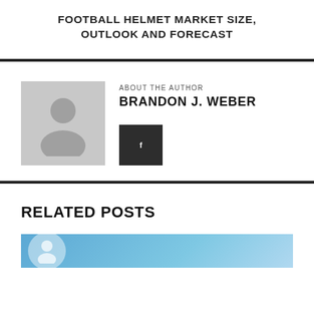FOOTBALL HELMET MARKET SIZE, OUTLOOK AND FORECAST
ABOUT THE AUTHOR
BRANDON J. WEBER
[Figure (illustration): Dark square social media link button with a small 'f' or link icon in white]
RELATED POSTS
[Figure (photo): Blue banner image with a white circular avatar placeholder, partial view at bottom of page]